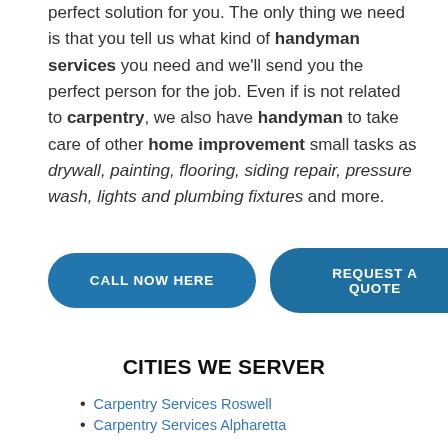perfect solution for you. The only thing we need is that you tell us what kind of handyman services you need and we'll send you the perfect person for the job. Even if is not related to carpentry, we also have handyman to take care of other home improvement small tasks as drywall, painting, flooring, siding repair, pressure wash, lights and plumbing fixtures and more.
[Figure (other): Two call-to-action buttons: 'CALL NOW HERE' and 'REQUEST A QUOTE' styled as rounded rectangles in blue]
CITIES WE SERVER
Carpentry Services Roswell
Carpentry Services Alpharetta